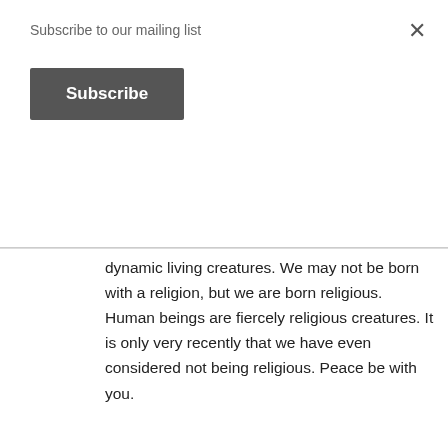Subscribe to our mailing list
Subscribe
dynamic living creatures. We may not be born with a religion, but we are born religious. Human beings are fiercely religious creatures. It is only very recently that we have even considered not being religious. Peace be with you.
Like
REPLY
[Figure (photo): Circular avatar photo of a man, insidechristopher commenter profile picture]
insidechristopher